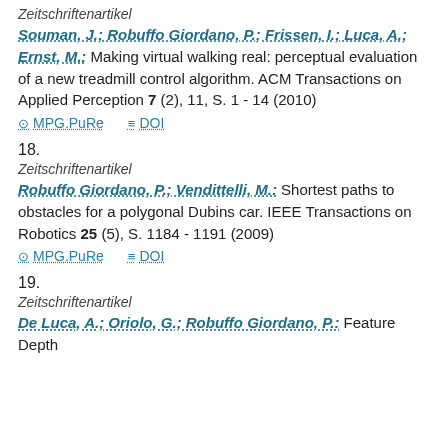Zeitschriftenartikel
Souman, J.; Robuffo Giordano, P.; Frissen, I.; Luca, A.; Ernst, M.: Making virtual walking real: perceptual evaluation of a new treadmill control algorithm. ACM Transactions on Applied Perception 7 (2), 11, S. 1 - 14 (2010)
MPG.PuRe  DOI
18.
Zeitschriftenartikel
Robuffo Giordano, P.; Vendittelli, M.: Shortest paths to obstacles for a polygonal Dubins car. IEEE Transactions on Robotics 25 (5), S. 1184 - 1191 (2009)
MPG.PuRe  DOI
19.
Zeitschriftenartikel
De Luca, A.; Oriolo, G.; Robuffo Giordano, P.: Feature Depth...